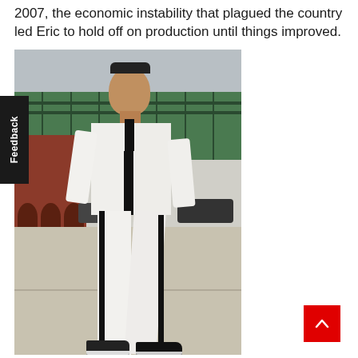2007, the economic instability that plagued the country led Eric to hold off on production until things improved.
[Figure (photo): A man wearing a white tracksuit with black side stripes walking outdoors under an elevated green steel structure, with red brick buildings visible in the background. A 'Feedback' tab appears on the left edge.]